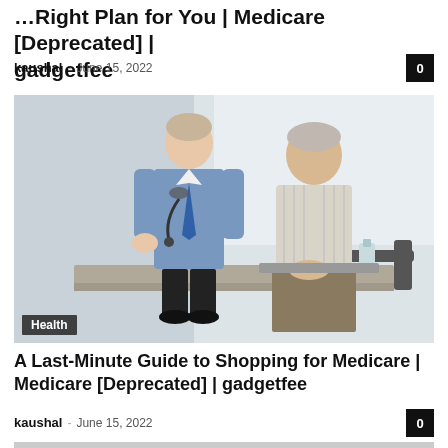A Last-Minute Guide to Shopping for the Right Plan for You | Medicare [Deprecated] | gadgetfee
kaushal – June 15, 2022
[Figure (photo): A doctor wearing a stethoscope and blue tie speaks with an elderly male patient in a clinical waiting area. The patient is seated near a wheelchair. A 'Health' label appears on the image.]
A Last-Minute Guide to Shopping for Medicare | Medicare [Deprecated] | gadgetfee
kaushal – June 15, 2022